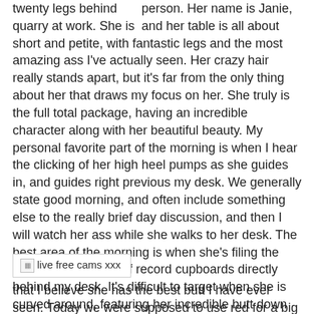person. Her name is Janie, and her table is all about twenty legs behind quarry at work. She is short and petite, with fantastic legs and the most amazing ass I've actually seen. Her crazy hair really stands apart, but it's far from the only thing about her that draws my focus on her. She truly is the full total package, having an incredible character along with her beautiful beauty. My personal favorite part of the morning is when I hear the clicking of her high heel pumps as she guides in, and guides right previous my desk. We generally state good morning, and often include something else to the really brief day discussion, and then I will watch her ass while she walks to her desk. The best area of the morning is when she's filing the requests in the line of record cupboards directly behind my desk. It's difficult to target when she is curved around, featuring her incredible butt down like the trophy it is. You might have guessed by now
[Figure (other): Advertisement banner with broken image icon and text 'live free cams xxx']
that I believe she has the best butt I have ever seen. Today we were supposed to use red for a big customer who was in